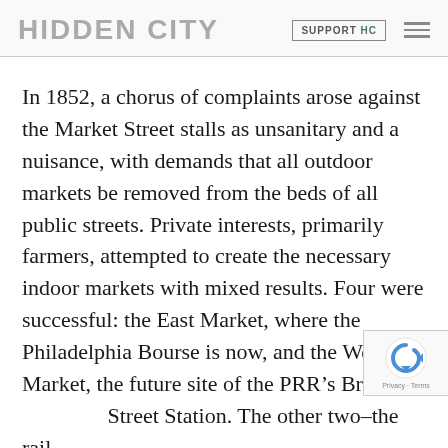HIDDEN CITY | SUPPORT HC
In 1852, a chorus of complaints arose against the Market Street stalls as unsanitary and a nuisance, with demands that all outdoor markets be removed from the beds of all public streets. Private interests, primarily farmers, attempted to create the necessary indoor markets with mixed results. Four were successful: the East Market, where the Philadelphia Bourse is now, and the West Market, the future site of the PRR’s Broad Street Station. The other two–the rail-served Farmers Market on Market Street